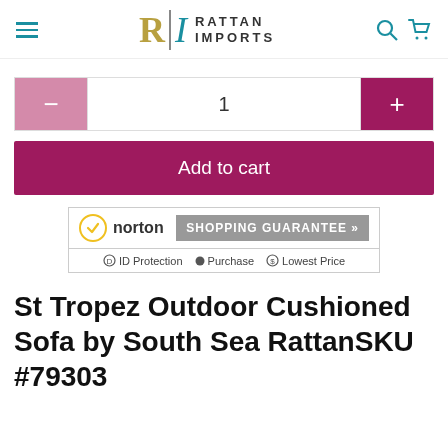[Figure (logo): Rattan Imports logo with hamburger menu, RI monogram, search and cart icons]
[Figure (screenshot): Quantity selector with minus button showing 1 and plus button]
[Figure (screenshot): Add to cart button in dark pink/magenta]
[Figure (screenshot): Norton Shopping Guarantee badge with ID Protection, Purchase, and Lowest Price]
St Tropez Outdoor Cushioned Sofa by South Sea RattanSKU #79303